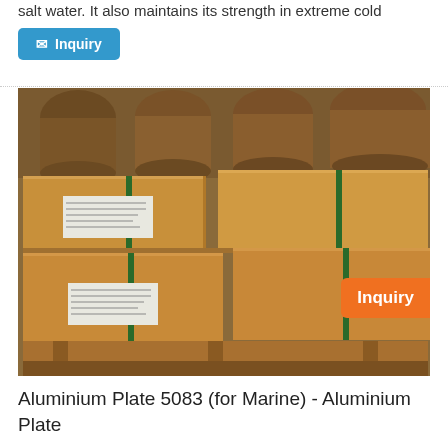salt water. It also maintains its strength in extreme cold
[Figure (other): Blue inquiry button with envelope icon]
[Figure (photo): Wooden crates stacked on pallets, bound with green straps, with white shipping labels, stored in a warehouse. An orange Inquiry badge is visible in the bottom-right corner of the image.]
Aluminium Plate 5083 (for Marine) - Aluminium Plate